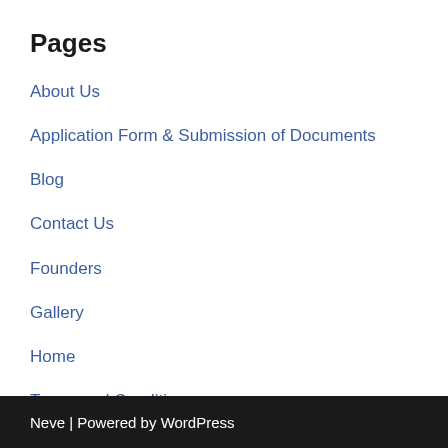Pages
About Us
Application Form & Submission of Documents
Blog
Contact Us
Founders
Gallery
Home
Terms and Conditions
Neve | Powered by WordPress